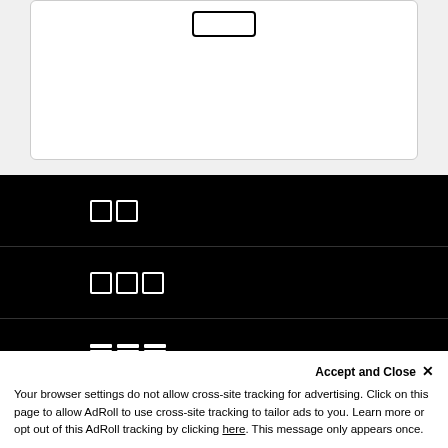[Figure (screenshot): White card/panel with a rounded rectangle icon at the top, shown on a light gray background]
두 개의 정사각형 아이콘 (two squares icon) menu row
세 개의 정사각형 아이콘 (three squares icon) menu row
세 개의 열 아이콘 (three column groups icon) menu row
네 개의 정사각형 아이콘 (four squares icon) menu row
Accept and Close ✕
Your browser settings do not allow cross-site tracking for advertising. Click on this page to allow AdRoll to use cross-site tracking to tailor ads to you. Learn more or opt out of this AdRoll tracking by clicking here. This message only appears once.